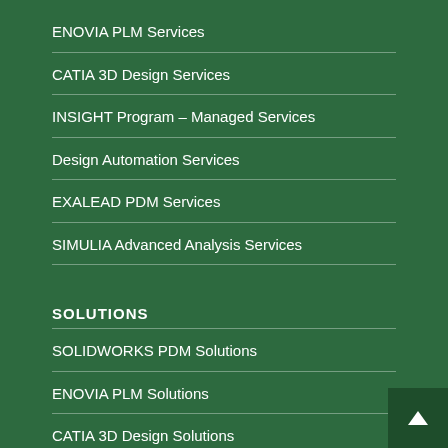ENOVIA PLM Services
CATIA 3D Design Services
INSIGHT Program – Managed Services
Design Automation Services
EXALEAD PDM Services
SIMULIA Advanced Analysis Services
SOLUTIONS
SOLIDWORKS PDM Solutions
ENOVIA PLM Solutions
CATIA 3D Design Solutions